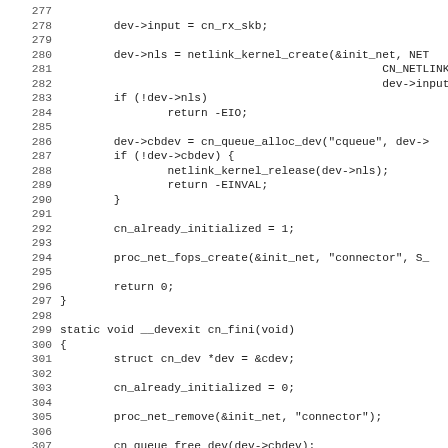Source code listing lines 277-308, showing C kernel connector initialization and finalization functions including cn_fini(void) with struct cn_dev *dev = &cdev, cn_already_initialized = 0, proc_net_remove, cn_queue_free_dev, netlink_kernel_release calls.